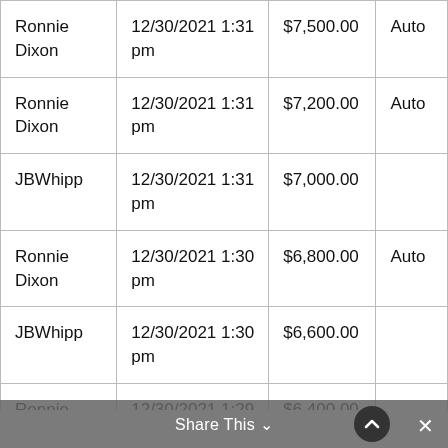| Ronnie Dixon | 12/30/2021 1:31 pm | $7,500.00 | Auto |
| Ronnie Dixon | 12/30/2021 1:31 pm | $7,200.00 | Auto |
| JBWhipp | 12/30/2021 1:31 pm | $7,000.00 |  |
| Ronnie Dixon | 12/30/2021 1:30 pm | $6,800.00 | Auto |
| JBWhipp | 12/30/2021 1:30 pm | $6,600.00 |  |
| Ronnie Dixon | 12/30/2021 1:29 pm | $6,400.00 |  |